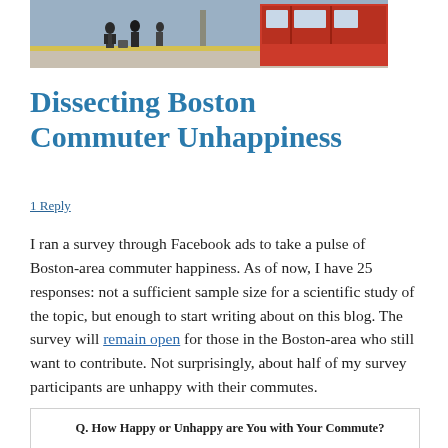[Figure (photo): Photograph of Boston commuters on a subway platform next to a red train car]
Dissecting Boston Commuter Unhappiness
1 Reply
I ran a survey through Facebook ads to take a pulse of Boston-area commuter happiness. As of now, I have 25 responses: not a sufficient sample size for a scientific study of the topic, but enough to start writing about on this blog. The survey will remain open for those in the Boston-area who still want to contribute. Not surprisingly, about half of my survey participants are unhappy with their commutes.
Q. How Happy or Unhappy are You with Your Commute?